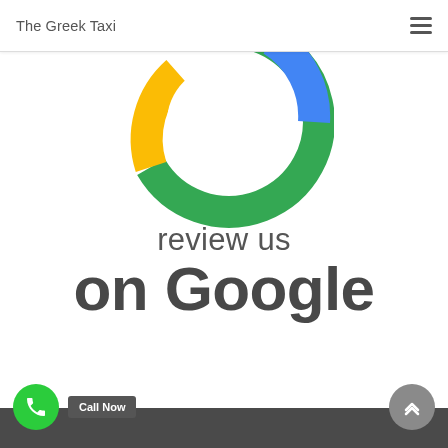The Greek Taxi
[Figure (donut-chart): Partial donut chart in Google colors (green, yellow, blue) cropped at top, white center hole visible]
review us
on Google
[Figure (other): Green circular call button with phone icon on the left, dark grey 'Call Now' label button next to it, grey scroll-to-top button on the right, dark footer bar at bottom]